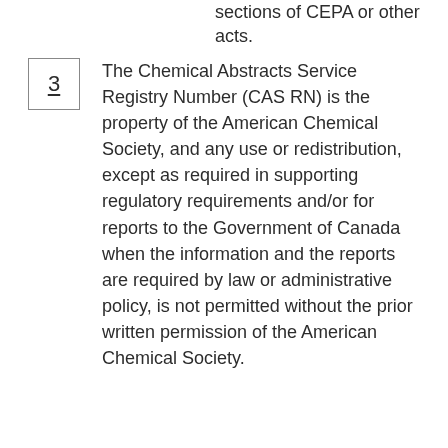sections of CEPA or other acts.
3  The Chemical Abstracts Service Registry Number (CAS RN) is the property of the American Chemical Society, and any use or redistribution, except as required in supporting regulatory requirements and/or for reports to the Government of Canada when the information and the reports are required by law or administrative policy, is not permitted without the prior written permission of the American Chemical Society.